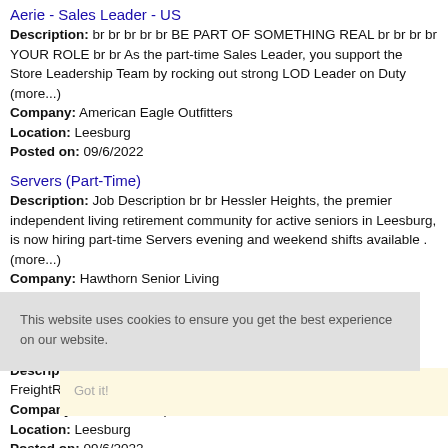Aerie - Sales Leader - US
Description: br br br br br BE PART OF SOMETHING REAL br br br br YOUR ROLE br br As the part-time Sales Leader, you support the Store Leadership Team by rocking out strong LOD Leader on Duty (more...)
Company: American Eagle Outfitters
Location: Leesburg
Posted on: 09/6/2022
Servers (Part-Time)
Description: Job Description br br Hessler Heights, the premier independent living retirement community for active seniors in Leesburg, is now hiring part-time Servers evening and weekend shifts available . (more...)
Company: Hawthorn Senior Living
Location: Leesburg
Posted on: 09/6/2022
Freight/Receiving
Description: Job DescriptionPosition Purpose:Associates in FreightReceiving positions ensure the
Company: The Home Depot
Location: Leesburg
Posted on: 09/6/2022